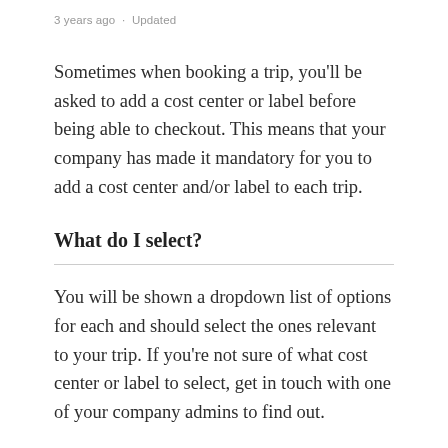3 years ago · Updated
Sometimes when booking a trip, you'll be asked to add a cost center or label before being able to checkout. This means that your company has made it mandatory for you to add a cost center and/or label to each trip.
What do I select?
You will be shown a dropdown list of options for each and should select the ones relevant to your trip. If you're not sure of what cost center or label to select, get in touch with one of your company admins to find out.
Often, cost centers relate to which department you are